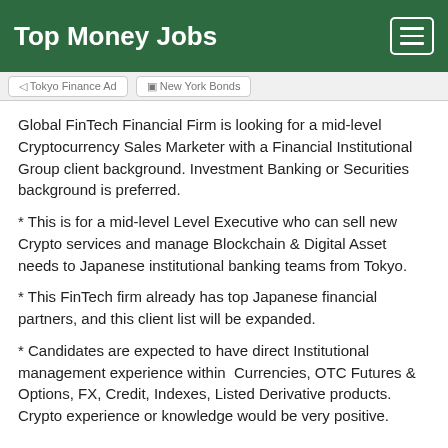Top Money Jobs
Global FinTech Financial Firm is looking for a mid-level Cryptocurrency Sales Marketer with a Financial Institutional Group client background. Investment Banking or Securities background is preferred.
* This is for a mid-level Level Executive who can sell new Crypto services and manage Blockchain & Digital Asset needs to Japanese institutional banking teams from Tokyo.
* This FinTech firm already has top Japanese financial partners, and this client list will be expanded.
* Candidates are expected to have direct Institutional management experience within Currencies, OTC Futures & Options, FX, Credit, Indexes, Listed Derivative products. Crypto experience or knowledge would be very positive.